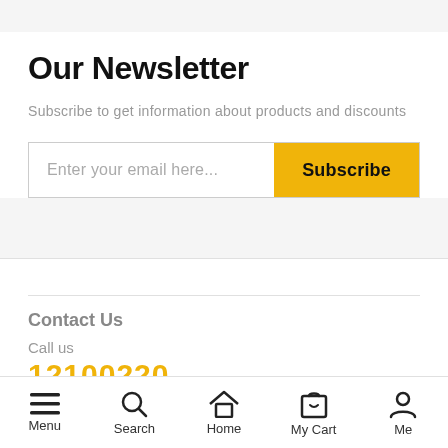Our Newsletter
Subscribe to get information about products and discounts
Enter your email here...
Subscribe
Contact Us
Call us
12100220
Menu  Search  Home  My Cart  Me